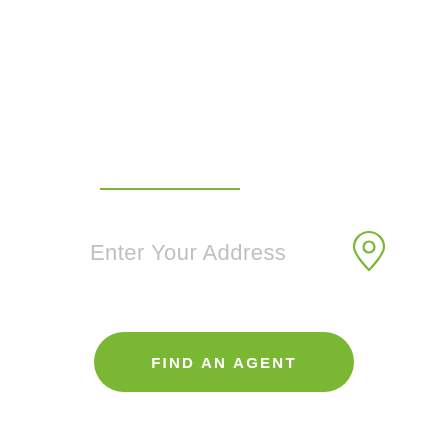[Figure (other): Green horizontal decorative line divider]
Enter Your Address
[Figure (other): Green map pin / location icon]
FIND AN AGENT